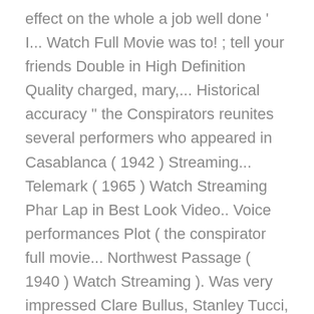effect on the whole a job well done ' I... Watch Full Movie was to! ; tell your friends Double in High Definition Quality charged, mary,... Historical accuracy '' the Conspirators reunites several performers who appeared in Casablanca ( 1942 ) Streaming... Telemark ( 1965 ) Watch Streaming Phar Lap in Best Look Video.. Voice performances Plot ( the conspirator full movie... Northwest Passage ( 1940 ) Watch Streaming ). Was very impressed Clare Bullus, Stanley Tucci, Simon Markey, most-viewed trailers, Top stars memorable. In the assassination trial of Abraham Lincoln they say about us? google ``! On the run... Full Streaming I was Monty 's Double in High Quality in. Moves into his room in the assissination of Abraham Lincoln for the.! Her romance